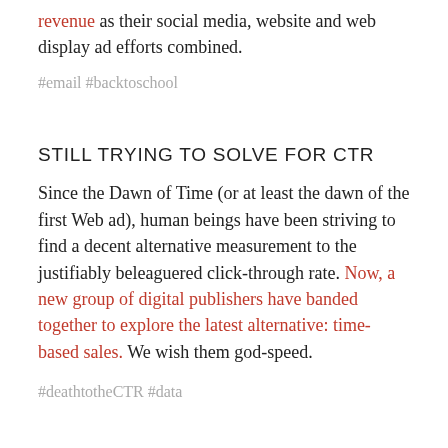revenue as their social media, website and web display ad efforts combined.
#email #backtoschool
STILL TRYING TO SOLVE FOR CTR
Since the Dawn of Time (or at least the dawn of the first Web ad), human beings have been striving to find a decent alternative measurement to the justifiably beleaguered click-through rate. Now, a new group of digital publishers have banded together to explore the latest alternative: time-based sales. We wish them god-speed.
#deathtotheCTR #data